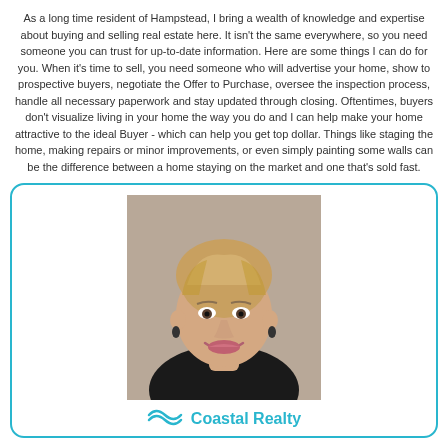As a long time resident of Hampstead, I bring a wealth of knowledge and expertise about buying and selling real estate here.  It isn't the same everywhere, so you need someone you can trust for up-to-date information.  Here are some things I can do for you.   When it's time to sell, you need someone who will advertise your home, show to prospective buyers, negotiate the Offer to Purchase, oversee the inspection process, handle all necessary paperwork and stay updated through closing.    Oftentimes, buyers don't visualize living in your home the way you do and I can help make your home attractive to the ideal Buyer - which can help you get top dollar.  Things like staging the home, making repairs or minor improvements, or even simply painting some walls can be the difference between a home staying on the market and one that's sold fast.
[Figure (photo): Professional headshot of a smiling middle-aged woman with short blonde hair, wearing dark clothing and earrings, against a neutral background.]
Coastal Realty